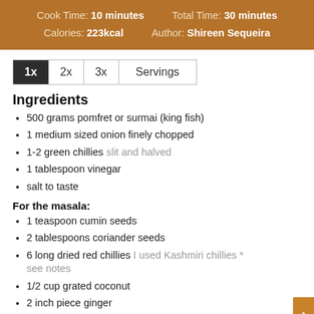Cook Time: 10 minutes  Total Time: 30 minutes  Calories: 223kcal  Author: Shireen Sequeira
| 1x | 2x | 3x | Servings |
| --- | --- | --- | --- |
Ingredients
500 grams pomfret or surmai (king fish)
1 medium sized onion finely chopped
1-2 green chillies slit and halved
1 tablespoon vinegar
salt to taste
For the masala:
1 teaspoon cumin seeds
2 tablespoons coriander seeds
6 long dried red chillies I used Kashmiri chillies * see notes
1/2 cup grated coconut
2 inch piece ginger
12-15 small cloves of garlic